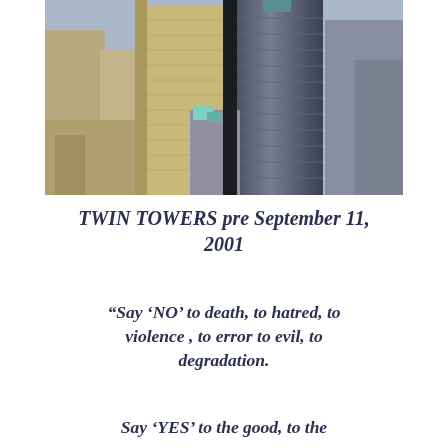[Figure (photo): Aerial photograph of the Twin Towers (World Trade Center) and surrounding Manhattan skyscrapers, pre September 11, 2001]
TWIN TOWERS pre September 11, 2001
“Say ‘NO’ to death, to hatred, to violence , to error to evil, to degradation.
Say ‘YES’ to the good, to the